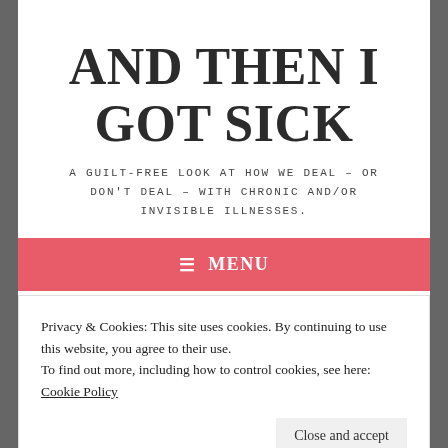AND THEN I GOT SICK
A GUILT-FREE LOOK AT HOW WE DEAL – OR DON'T DEAL – WITH CHRONIC AND/OR INVISIBLE ILLNESSES.
≡ MENU
Privacy & Cookies: This site uses cookies. By continuing to use this website, you agree to their use.
To find out more, including how to control cookies, see here: Cookie Policy
Close and accept
ON DISMISSIVE DOCTORS: